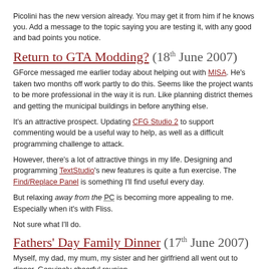Picolini has the new version already. You may get it from him if he knows you. Add a message to the topic saying you are testing it, with any good and bad points you notice.
Return to GTA Modding? (18th June 2007)
GForce messaged me earlier today about helping out with MISA. He's taken two months off work partly to do this. Seems like the project wants to be more professional in the way it is run. Like planning district themes and getting the municipal buildings in before anything else.
It's an attractive prospect. Updating CFG Studio 2 to support commenting would be a useful way to help, as well as a difficult programming challenge to attack.
However, there's a lot of attractive things in my life. Designing and programming TextStudio's new features is quite a fun exercise. The Find/Replace Panel is something I'll find useful every day.
But relaxing away from the PC is becoming more appealing to me. Especially when it's with Fliss.
Not sure what I'll do.
Fathers' Day Family Dinner (17th June 2007)
Myself, my dad, my mum, my sister and her girlfriend all went out to dinner. Genuinely cheerful reunion.